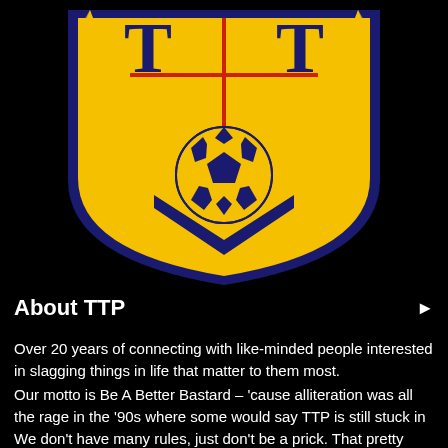[Figure (logo): TTP football club crest/logo with yellow shield shape, navy blue border, two letters T at top, a red cross in center, and a navy soccer ball in the middle, on black background]
About TTP
Over 20 years of connecting with like-minded people interested in slagging things in life that matter to them most.
Our motto is Be A Better Bastard – 'cause alliteration was all the rage in the '90s where some would say TTP is still stuck in
We don't have many rules, just don't be a prick. That pretty much sums it up. Welcome and enjoy.